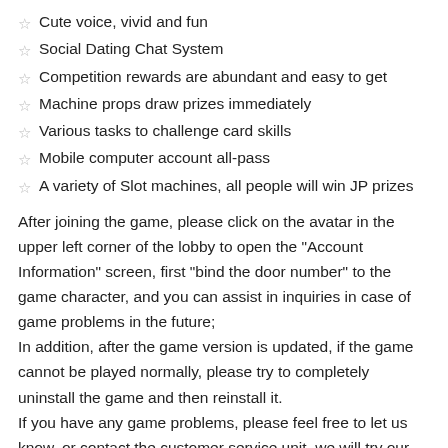Cute voice, vivid and fun
Social Dating Chat System
Competition rewards are abundant and easy to get
Machine props draw prizes immediately
Various tasks to challenge card skills
Mobile computer account all-pass
A variety of Slot machines, all people will win JP prizes
After joining the game, please click on the avatar in the upper left corner of the lobby to open the “Account Information” screen, first “bind the door number” to the game character, and you can assist in inquiries in case of game problems in the future; In addition, after the game version is updated, if the game cannot be played normally, please try to completely uninstall the game and then reinstall it. If you have any game problems, please feel free to let us know, or contact the customer service unit, we will try our best to help you solve your problems.